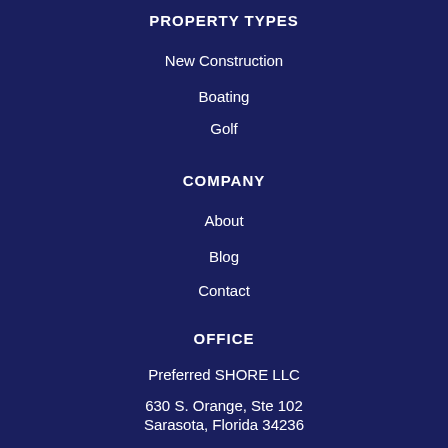PROPERTY TYPES
New Construction
Boating
Golf
COMPANY
About
Blog
Contact
OFFICE
Preferred SHORE LLC
630 S. Orange, Ste 102
Sarasota, Florida 34236
(941) 961-4037
robert@lwrhome.com